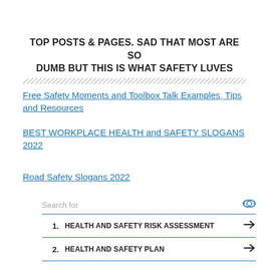TOP POSTS & PAGES. SAD THAT MOST ARE SO DUMB BUT THIS IS WHAT SAFETY LUVES
Free Safety Moments and Toolbox Talk Examples, Tips and Resources
BEST WORKPLACE HEALTH and SAFETY SLOGANS 2022
Road Safety Slogans 2022
| # | Item |  |
| --- | --- | --- |
| 1. | HEALTH AND SAFETY RISK ASSESSMENT | → |
| 2. | HEALTH AND SAFETY PLAN | → |